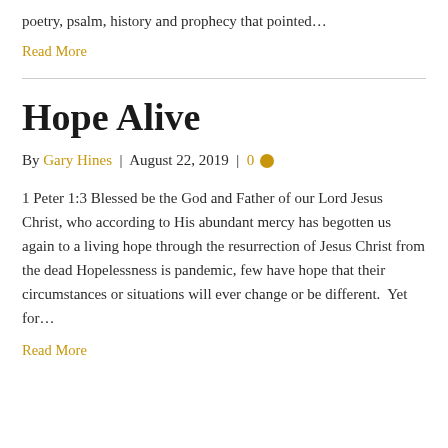poetry, psalm, history and prophecy that pointed…
Read More
Hope Alive
By Gary Hines | August 22, 2019 | 0
1 Peter 1:3 Blessed be the God and Father of our Lord Jesus Christ, who according to His abundant mercy has begotten us again to a living hope through the resurrection of Jesus Christ from the dead Hopelessness is pandemic, few have hope that their circumstances or situations will ever change or be different.  Yet for…
Read More